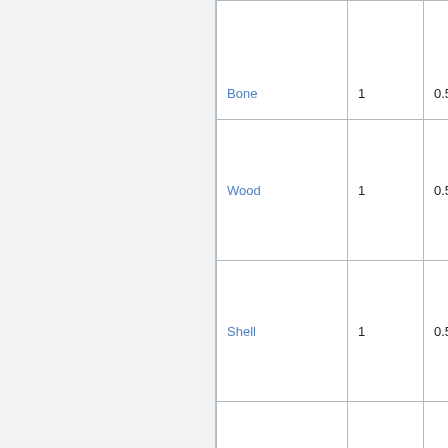| Item | Qty | Weight | Value |
| --- | --- | --- | --- |
| Bone | 1 | 0.50 | 20 |
| Wood | 1 | 0.50 | 10 |
| Shell | 1 | 0.50 | 20 |